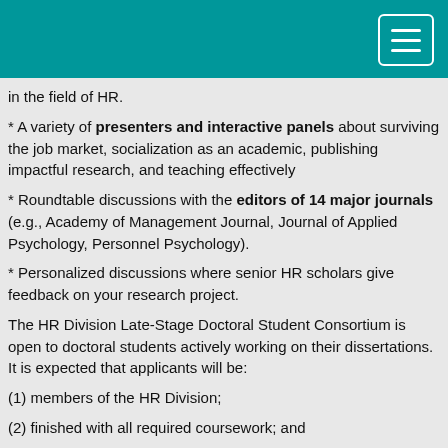in the field of HR.
* A variety of presenters and interactive panels about surviving the job market, socialization as an academic, publishing impactful research, and teaching effectively
* Roundtable discussions with the editors of 14 major journals (e.g., Academy of Management Journal, Journal of Applied Psychology, Personnel Psychology).
* Personalized discussions where senior HR scholars give feedback on your research project.
The HR Division Late-Stage Doctoral Student Consortium is open to doctoral students actively working on their dissertations. It is expected that applicants will be:
(1) members of the HR Division;
(2) finished with all required coursework; and
(3) on track to have their dissertation/thesis proposal approved by their supervising committee before the conference.
Unfortunately, we cannot accept applicants that have already completed